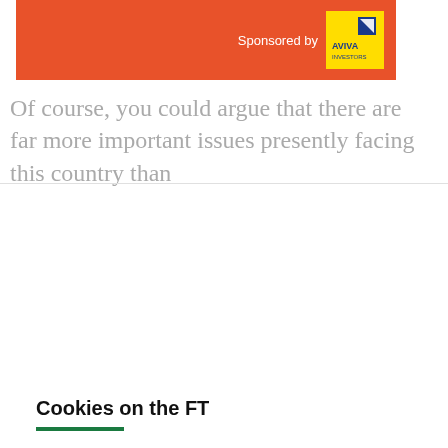[Figure (logo): Orange sponsored-by banner with Aviva Investors yellow logo on the right]
Of course, you could argue that there are far more important issues presently facing this country than
Cookies on the FT
We use cookies ↗ for a number of reasons, such as keeping FT Sites reliable and secure, personalising content and ads, providing social media features and to analyse how our Sites are used.
Manage cookies
Accept & continue